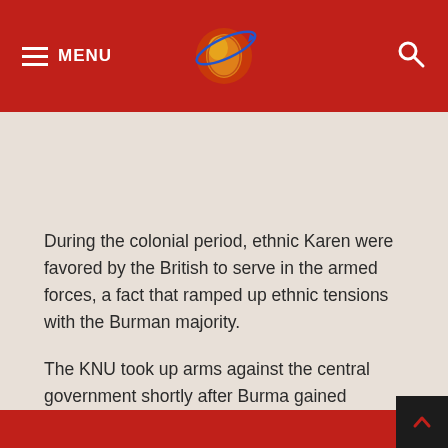MENU
During the colonial period, ethnic Karen were favored by the British to serve in the armed forces, a fact that ramped up ethnic tensions with the Burman majority.
The KNU took up arms against the central government shortly after Burma gained independence in 1948,